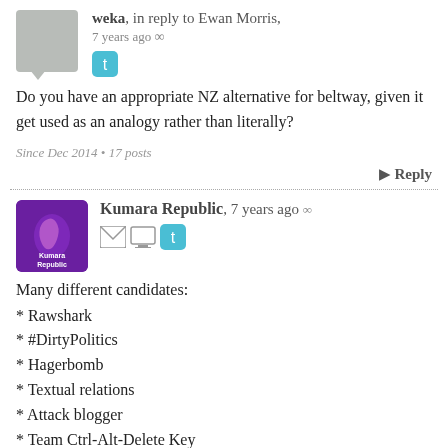weka, in reply to Ewan Morris, 7 years ago
Do you have an appropriate NZ alternative for beltway, given it get used as an analogy rather than literally?
Since Dec 2014 • 17 posts
Reply
Kumara Republic, 7 years ago
Many different candidates:
* Rawshark
* #DirtyPolitics
* Hagerbomb
* Textual relations
* Attack blogger
* Team Ctrl-Alt-Delete Key
* Abuse of Gower
* Cut The Crap